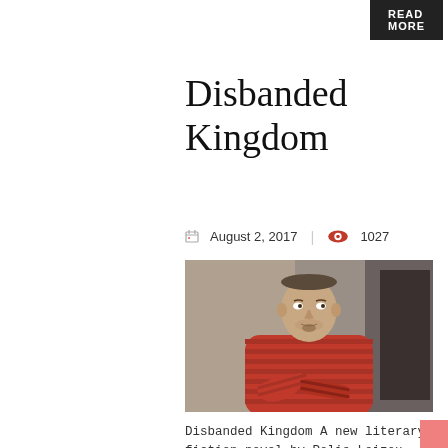READ MORE
Disbanded Kingdom
August 2, 2017  |  1027
[Figure (photo): A man with short hair wearing a red striped long-sleeve shirt, sitting with arms crossed, looking to the side. Background is an interior space.]
Disbanded Kingdom A new literary fiction novel by Polis Loizou CLB is proud to announce the acquisition of its new title Disbanded Kingdom by Polis Loizou